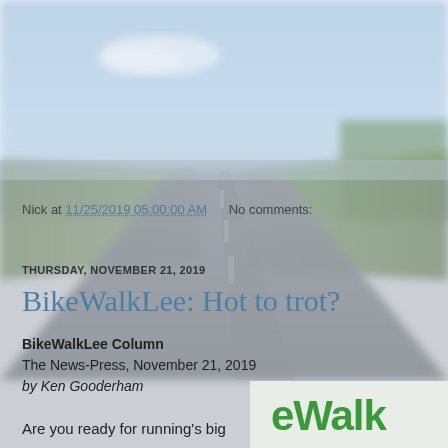[Figure (photo): Blurred aerial/road photo background showing a highway with green fields and blue sky]
Nick at 11/25/2019 05:00:00 AM   No comments:
THURSDAY, NOVEMBER 21, 2019
BikeWalkLee: Hot to trot?
BikeWalkLee Column
The News-Press, November 21, 2019
by Ken Gooderham
Are you ready for running's big
[Figure (logo): BikeWalkLee logo showing eWalk text in green]